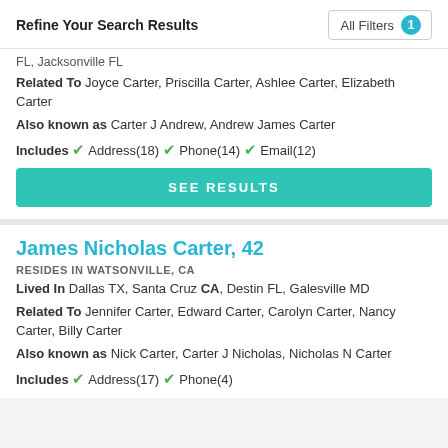Refine Your Search Results   All Filters 1
FL, Jacksonville FL
Related To Joyce Carter, Priscilla Carter, Ashlee Carter, Elizabeth Carter
Also known as Carter J Andrew, Andrew James Carter
Includes ✓ Address(18) ✓ Phone(14) ✓ Email(12)
SEE RESULTS
James Nicholas Carter, 42
RESIDES IN WATSONVILLE, CA
Lived In Dallas TX, Santa Cruz CA, Destin FL, Galesville MD
Related To Jennifer Carter, Edward Carter, Carolyn Carter, Nancy Carter, Billy Carter
Also known as Nick Carter, Carter J Nicholas, Nicholas N Carter
Includes ✓ Address(17) ✓ Phone(4)